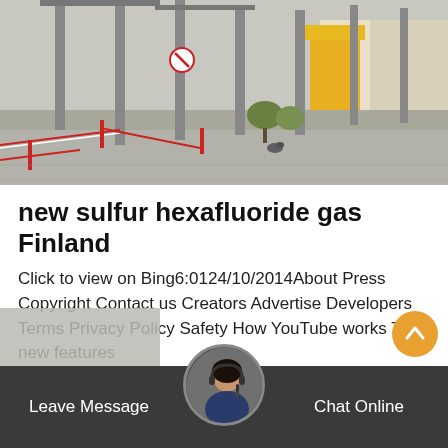[Figure (photo): Outdoor electrical substation with tall metal poles, red and white barrier tape, and industrial equipment in background. Gray concrete ground surface.]
new sulfur hexafluoride gas Finland
Click to view on Bing6:0124/10/2014About Press Copyright Contact us Creators Advertise Developers Terms Privacy Policy Safety How YouTube works Test new features
Get Price
Leave Message
Chat Online